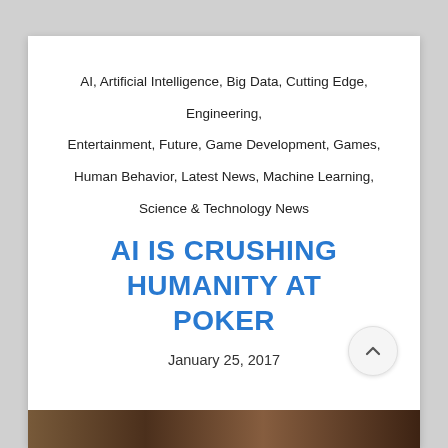AI, Artificial Intelligence, Big Data, Cutting Edge, Engineering, Entertainment, Future, Game Development, Games, Human Behavior, Latest News, Machine Learning, Science & Technology News
AI IS CRUSHING HUMANITY AT POKER
January 25, 2017
[Figure (photo): Photo strip at bottom of page, partially visible image]